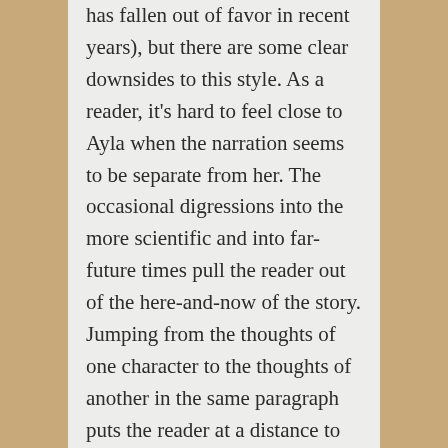has fallen out of favor in recent years), but there are some clear downsides to this style. As a reader, it's hard to feel close to Ayla when the narration seems to be separate from her. The occasional digressions into the more scientific and into far-future times pull the reader out of the here-and-now of the story. Jumping from the thoughts of one character to the thoughts of another in the same paragraph puts the reader at a distance to both of those characters.
This style of writing allows the reader to know what everyone is doing, what everyone is thinking, and any of the